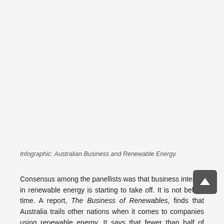Infographic: Australian Business and Renewable Energy.
Consensus among the panellists was that business interest in renewable energy is starting to take off. It is not before time. A report, The Business of Renewables, finds that Australia trails other nations when it comes to companies using renewable energy. It says that fewer than half of Australian companies are using